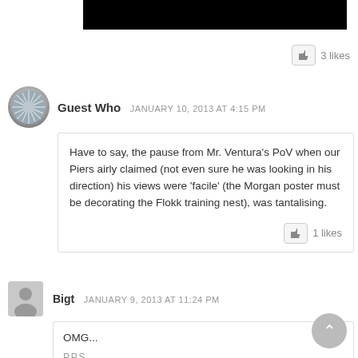[Figure (photo): Black image area at top, partial view of a video or photo]
3 likes
Guest Who  JANUARY 10, 2013 AT 4:15 PM
Have to say, the pause from Mr. Ventura's PoV when our Piers airly claimed (not even sure he was looking in his direction) his views were 'facile' (the Morgan poster must be decorating the Flokk training nest), was tantalising.
1 likes
Bigt  JANUARY 9, 2013 AT 11:24 PM
OMG...
P.P.S. (partial, cut off)